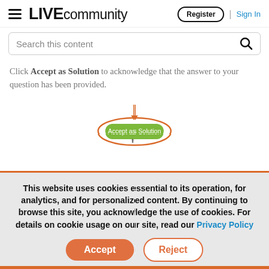LIVE community — Register | Sign In
Search this content
Click Accept as Solution to acknowledge that the answer to your question has been provided.
[Figure (screenshot): Green 'Accept as Solution' button with orange circle annotation and arrow pointing to it]
This website uses cookies essential to its operation, for analytics, and for personalized content. By continuing to browse this site, you acknowledge the use of cookies. For details on cookie usage on our site, read our Privacy Policy